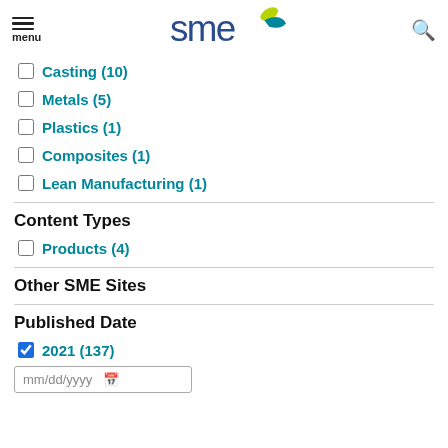menu | sme logo | search
Casting (10)
Metals (5)
Plastics (1)
Composites (1)
Lean Manufacturing (1)
Content Types
Products (4)
Other SME Sites
Published Date
2021 (137)
mm/dd/yyyy